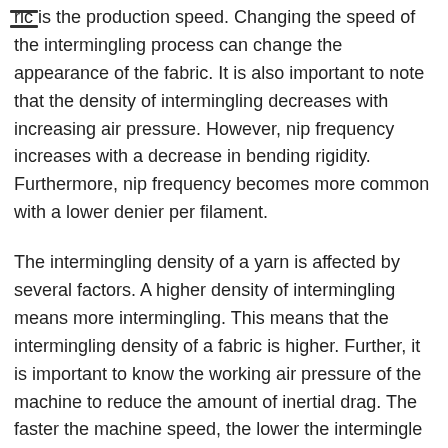ric is the production speed. Changing the speed of the intermingling process can change the appearance of the fabric. It is also important to note that the density of intermingling decreases with increasing air pressure. However, nip frequency increases with a decrease in bending rigidity. Furthermore, nip frequency becomes more common with a lower denier per filament.
The intermingling density of a yarn is affected by several factors. A higher density of intermingling means more intermingling. This means that the intermingling density of a fabric is higher. Further, it is important to know the working air pressure of the machine to reduce the amount of inertial drag. The faster the machine speed, the lower the intermingle density. The lower the air pressure, the better the intermingling density.
Intermingling density is an important factor in improving the quality of a textile. The density of intermingling is